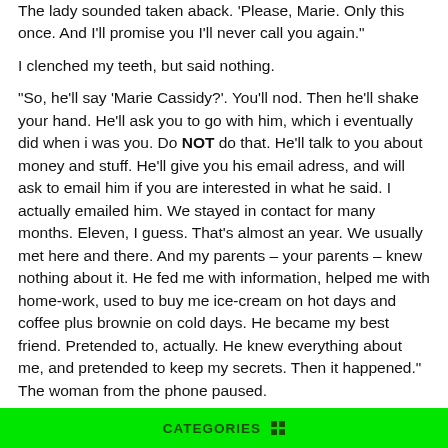The lady sounded taken aback. 'Please, Marie. Only this once. And I'll promise you I'll never call you again.'
I clenched my teeth, but said nothing.
"So, he'll say 'Marie Cassidy?'. You'll nod. Then he'll shake your hand. He'll ask you to go with him, which i eventually did when i was you. Do NOT do that. He'll talk to you about money and stuff. He'll give you his email adress, and will ask to email him if you are interested in what he said. I actually emailed him. We stayed in contact for many months. Eleven, I guess. That's almost an year. We usually met here and there. And my parents – your parents – knew nothing about it. He fed me with information, helped me with home-work, used to buy me ice-cream on hot days and coffee plus brownie on cold days. He became my best friend. Pretended to, actually. He knew everything about me, and pretended to keep my secrets. Then it happened." The woman from the phone paused.
“Then what happened?” I asked curiously.
CATEGORIES